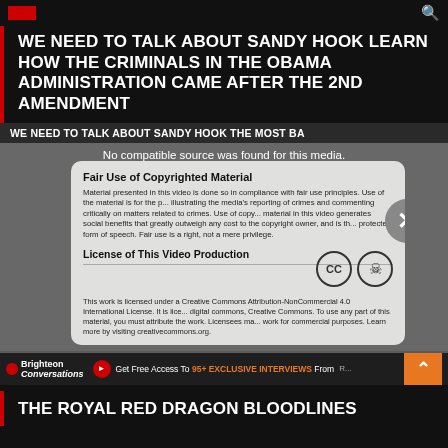WE NEED TO TALK ABOUT SANDY HOOK LEARN HOW THE CRIMINALS IN THE OBAMA ADMINISTRATION CAME AFTER THE 2ND AMENDMENT
[Figure (screenshot): Video player showing 'WE NEED TO TALK ABOUT SANDY HOOK THE MOST BA...' with a modal overlay displaying Fair Use of Copyrighted Material notice and License of This Video Production with Creative Commons Attribution-NonCommercial 4.0 International License icons, and a close X button. Text reads: 'No compatible source was found for this media.']
Get Free Access To 95+ EXCLUSIVE INTERVIEWS From...
THE ROYAL RED DRAGON BLOODLINES